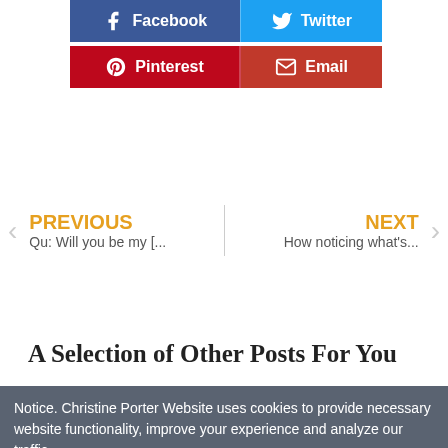[Figure (other): Social share buttons: Facebook (dark blue), Twitter (light blue), Pinterest (dark red), Email (red)]
PREVIOUS
Qu: Will you be my [..
NEXT
How noticing what's...
A Selection of Other Posts For You
Notice. Christine Porter Website uses cookies to provide necessary website functionality, improve your experience and analyze our traffic.
By using our website, you agree to our Cookies Policy.
Got it